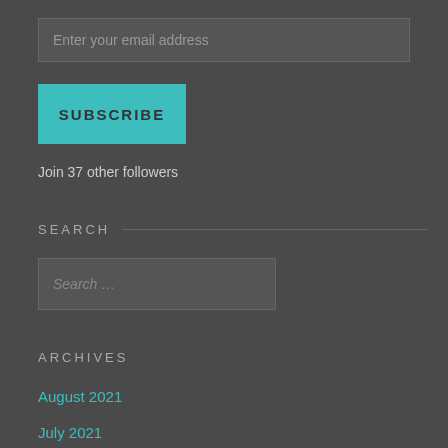Enter your email address
SUBSCRIBE
Join 37 other followers
SEARCH
Search …
ARCHIVES
August 2021
July 2021